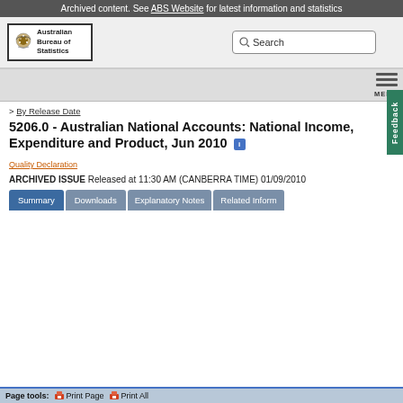Archived content. See ABS Website for latest information and statistics
[Figure (logo): Australian Bureau of Statistics logo with Commonwealth coat of arms crest inside a bordered box]
> By Release Date
5206.0 - Australian National Accounts: National Income, Expenditure and Product, Jun 2010
Quality Declaration
ARCHIVED ISSUE Released at 11:30 AM (CANBERRA TIME) 01/09/2010
Summary  Downloads  Explanatory Notes  Related Inform...
Page tools:  Print Page  Print All